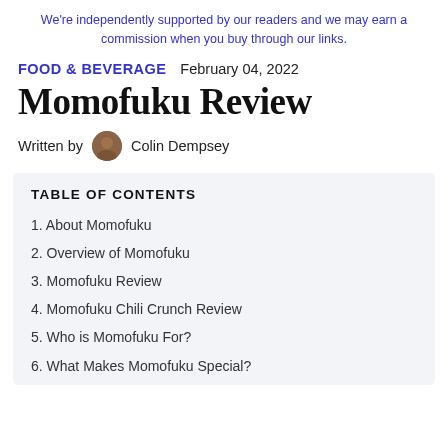We're independently supported by our readers and we may earn a commission when you buy through our links.
FOOD & BEVERAGE   February 04, 2022
Momofuku Review
Written by Colin Dempsey
TABLE OF CONTENTS
1. About Momofuku
2. Overview of Momofuku
3. Momofuku Review
4. Momofuku Chili Crunch Review
5. Who is Momofuku For?
6. What Makes Momofuku Special?